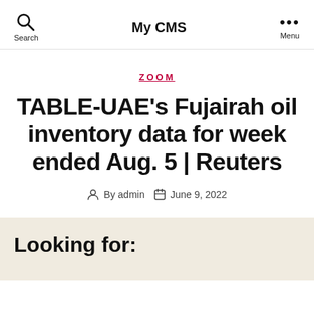My CMS
ZOOM
TABLE-UAE's Fujairah oil inventory data for week ended Aug. 5 | Reuters
By admin   June 9, 2022
Looking for: